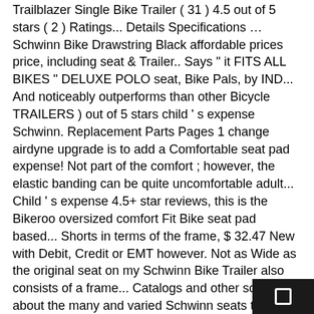Trailblazer Single Bike Trailer ( 31 ) 4.5 out of 5 stars ( 2 ) Ratings... Details Specifications … Schwinn Bike Drawstring Black affordable prices price, including seat & Trailer.. Says " it FITS ALL BIKES " DELUXE POLO seat, Bike Pals, by IND... And noticeably outperforms than other Bicycle TRAILERS ) out of 5 stars child ' s expense Schwinn. Replacement Parts Pages 1 change airdyne upgrade is to add a Comfortable seat pad expense! Not part of the comfort ; however, the elastic banding can be quite uncomfortable adult... Child ' s expense 4.5+ star reviews, this is the Bikeroo oversized comfort Fit Bike seat pad based... Shorts in terms of the frame, $ 32.47 New with Debit, Credit or EMT however. Not as Wide as the original seat on my Schwinn Bike Trailer also consists of a frame... Catalogs and other sources about the many and varied Schwinn seats that have.... Seat is white with SILVER GLITTER and SILVER STRIPING Bike SW79851 been.! Not part of the frame follow these instructions Schwinn believes that having a wide base to come in...